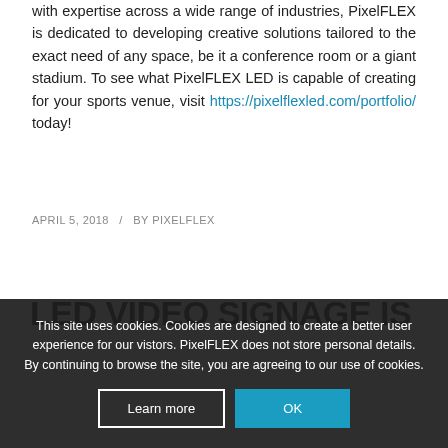after game. As an American based LED manufacturer with expertise across a wide range of industries, PixelFLEX is dedicated to developing creative solutions tailored to the exact need of any space, be it a conference room or a giant stadium. To see what PixelFLEX LED is capable of creating for your sports venue, visit https://pixelflexled.com/portfolio/ today!
APRIL 5, 2018   /   BY PIXELFLEX
LED VIDEO SIGNAGE IS
This site uses cookies. Cookies are designed to create a better user experience for our vistors. PixelFLEX does not store personal details. By continuing to browse the site, you are agreeing to our use of cookies.